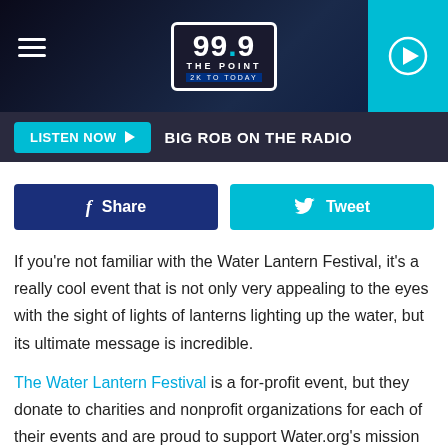99.9 THE POINT — 2K TO TODAY
LISTEN NOW ▶  BIG ROB ON THE RADIO
[Figure (other): Facebook Share button and Twitter Tweet button]
If you're not familiar with the Water Lantern Festival, it's a really cool event that is not only very appealing to the eyes with the sight of lights of lanterns lighting up the water, but its ultimate message is incredible.
The Water Lantern Festival is a for-profit event, but they donate to charities and nonprofit organizations for each of their events and are proud to support Water.org's mission of providing safe water to millions of people around the